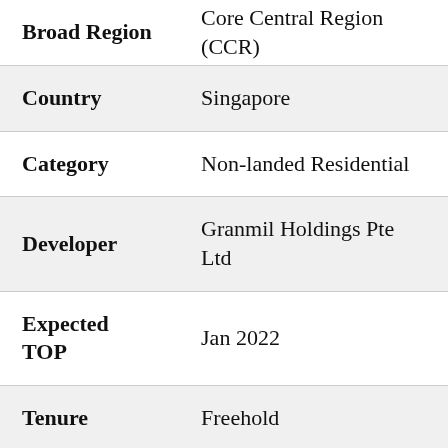| Field | Value |
| --- | --- |
| Broad Region | Core Central Region (CCR) |
| Country | Singapore |
| Category | Non-landed Residential |
| Developer | Granmil Holdings Pte Ltd |
| Expected TOP | Jan 2022 |
| Tenure | Freehold |
| Architect | Safedie and DP Architects Pte Ltd |
| Project Acct | 001-014206-2 DBS Bank Ltd |
| Max Building | 28 stories |